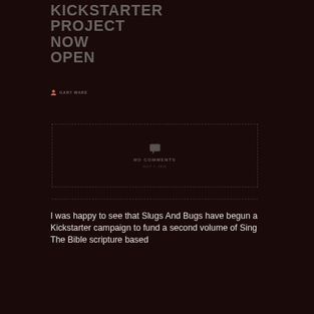KICKSTARTER PROJECT NOW OPEN
GARY WARE
[Figure (infographic): Dashed-border box with speech bubble/comment icon, text NO COMMENTS, and date JULY 7, 2015]
I was happy to see that Slugs And Bugs have begun a Kickstarter campaign to fund a second volume of Sing The Bible scripture based